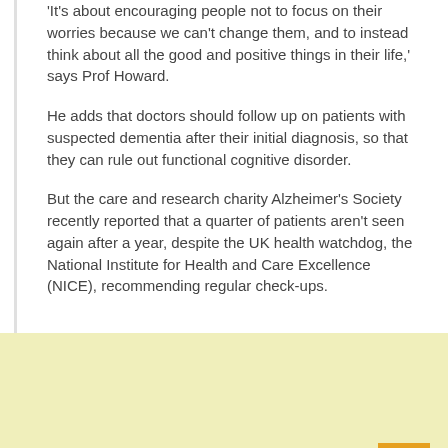'It's about encouraging people not to focus on their worries because we can't change them, and to instead think about all the good and positive things in their life,' says Prof Howard.
He adds that doctors should follow up on patients with suspected dementia after their initial diagnosis, so that they can rule out functional cognitive disorder.
But the care and research charity Alzheimer's Society recently reported that a quarter of patients aren't seen again after a year, despite the UK health watchdog, the National Institute for Health and Care Excellence (NICE), recommending regular check-ups.
[Figure (other): Yellow/cream background section at the bottom of the page with an orange 'back to top' button in the bottom-right corner featuring an upward chevron arrow.]